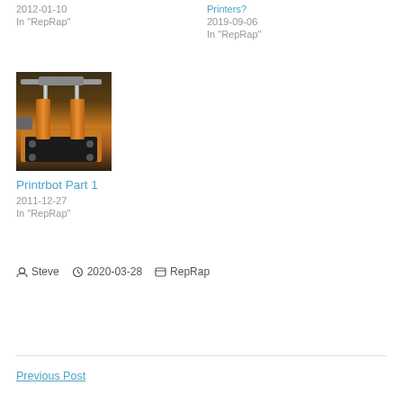2012-01-10
In "RepRap"
Printers?
2019-09-06
In "RepRap"
[Figure (photo): Photo of a 3D printer component, showing orange/wood colored printed parts with metal rods and a black base plate]
Printrbot Part 1
2011-12-27
In "RepRap"
Steve  2020-03-28  RepRap
Previous Post